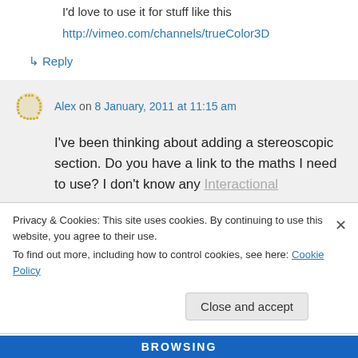I'd love to use it for stuff like this
http://vimeo.com/channels/trueColor3D
↳ Reply
Alex on 8 January, 2011 at 11:15 am
I've been thinking about adding a stereoscopic section. Do you have a link to the maths I need to use? I don't know any [international]
Privacy & Cookies: This site uses cookies. By continuing to use this website, you agree to their use.
To find out more, including how to control cookies, see here: Cookie Policy
Close and accept